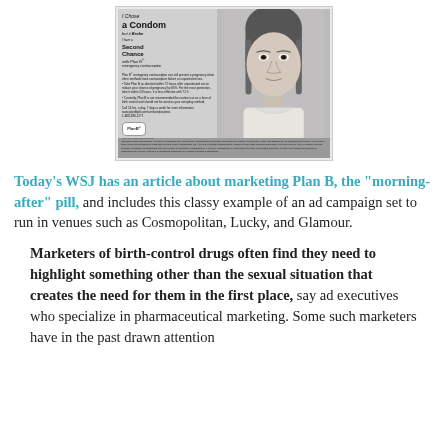[Figure (photo): A pharmaceutical advertisement for Plan B emergency contraception, showing a young woman's face in black and white. The ad reads 'I Chose a Condom but it Broke. I have a Second Chance with Plan B emergency contraception.' with bullet points and the Plan B logo.]
Today's WSJ has an article about marketing Plan B, the "morning-after" pill, and includes this classy example of an ad campaign set to run in venues such as Cosmopolitan, Lucky, and Glamour.
Marketers of birth-control drugs often find they need to highlight something other than the sexual situation that creates the need for them in the first place, say ad executives who specialize in pharmaceutical marketing. Some such marketers have in the past drawn attention